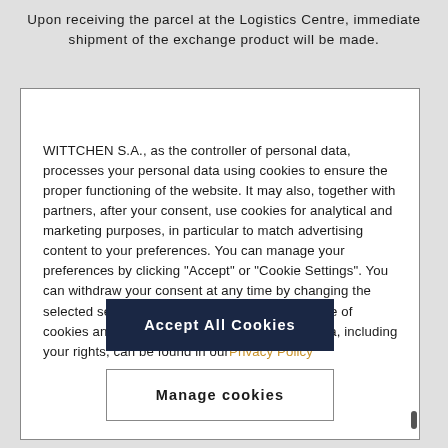Upon receiving the parcel at the Logistics Centre, immediate shipment of the exchange product will be made.
WITTCHEN S.A., as the controller of personal data, processes your personal data using cookies to ensure the proper functioning of the website. It may also, together with partners, after your consent, use cookies for analytical and marketing purposes, in particular to match advertising content to your preferences. You can manage your preferences by clicking "Accept" or "Cookie Settings". You can withdraw your consent at any time by changing the selected settings. More information about the use of cookies and the processing of your personal data, including your rights, can be found in our Privacy Policy